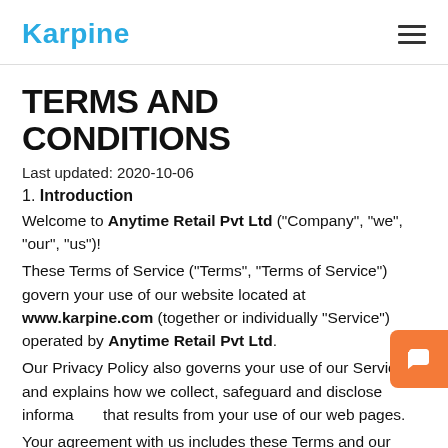Karpine
TERMS AND CONDITIONS
Last updated: 2020-10-06
1. Introduction
Welcome to Anytime Retail Pvt Ltd ("Company", "we", "our", "us")!
These Terms of Service ("Terms", "Terms of Service") govern your use of our website located at www.karpine.com (together or individually "Service") operated by Anytime Retail Pvt Ltd.
Our Privacy Policy also governs your use of our Service and explains how we collect, safeguard and disclose information that results from your use of our web pages.
Your agreement with us includes these Terms and our Privacy Policy ("Agreements"). You acknowledge that you